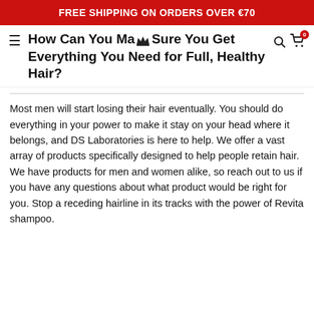FREE SHIPPING ON ORDERS OVER €70
How Can You Make Sure You Get Everything You Need for Full, Healthy Hair?
Most men will start losing their hair eventually. You should do everything in your power to make it stay on your head where it belongs, and DS Laboratories is here to help. We offer a vast array of products specifically designed to help people retain hair. We have products for men and women alike, so reach out to us if you have any questions about what product would be right for you. Stop a receding hairline in its tracks with the power of Revita shampoo.